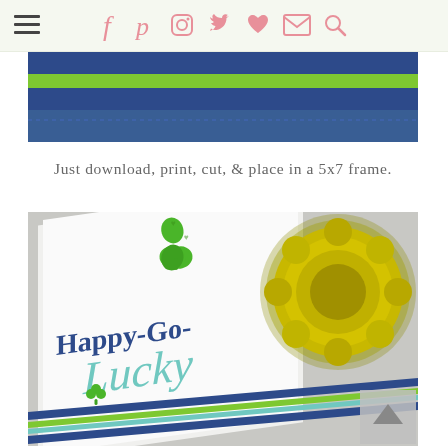Navigation bar with hamburger menu and social icons (Facebook, Pinterest, Instagram, Twitter, heart, mail, search)
[Figure (illustration): Decorative banner with horizontal stripes: dark navy blue, bright lime green, navy blue, and teal/turquoise background]
Just download, print, cut, & place in a 5x7 frame.
[Figure (photo): A framed art print reading 'Happy-Go-Lucky' with a green shamrock clover above the text, next to a yellow chrysanthemum flower. The frame rests on striped blue and green paper. A back-to-top arrow button is in the bottom-right corner.]